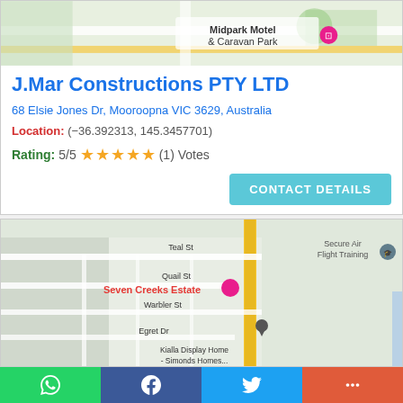[Figure (map): Google Maps snippet showing Midpark Motel & Caravan Park location]
J.Mar Constructions PTY LTD
68 Elsie Jones Dr, Mooroopna VIC 3629, Australia
Location: (-36.392313, 145.3457701)
Rating: 5/5 ★★★★★ (1) Votes
CONTACT DETAILS
[Figure (map): Google Maps snippet showing Seven Creeks Estate, Teal St, Quail St, Warbler St, Egret Dr, Kialla Display Home - Simonds Homes, Secure Air Flight Training]